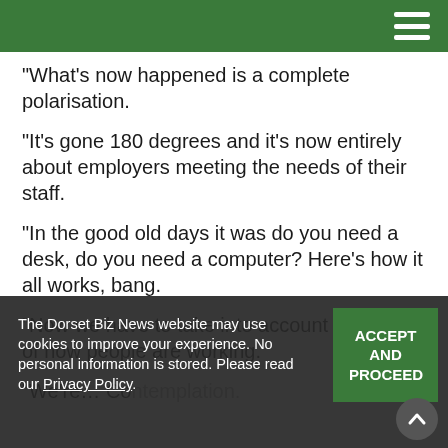“What’s now happened is a complete polarisation.
“It’s gone 180 degrees and it’s now entirely about employers meeting the needs of their staff.
“In the good old days it was do you need a desk, do you need a computer? Here’s how it all works, bang.
“Now we have to take into account the nature of how people are working.
“We’re… Contemplation.
The Dorset Biz News website may use cookies to improve your experience. No personal information is stored. Please read our Privacy Policy.